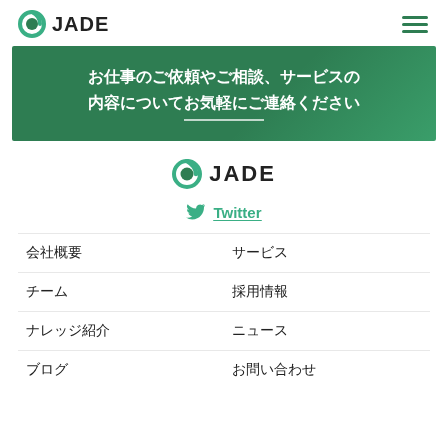JADE
お仕事のご依頼やご相談、サービスの内容についてお気軽にご連絡ください
[Figure (logo): JADE company logo centered]
Twitter
会社概要
サービス
チーム
採用情報
ナレッジ紹介
ニュース
ブログ
お問い合わせ